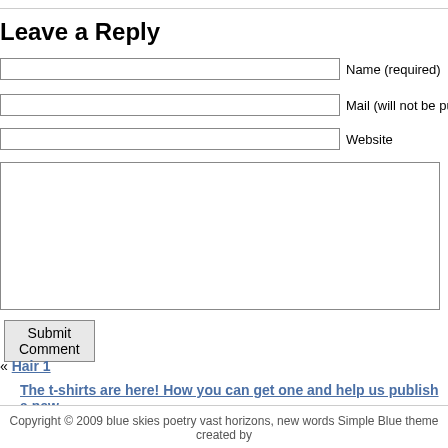Leave a Reply
Name (required)
Mail (will not be pub
Website
[textarea]
Submit Comment
« Hair 1
The t-shirts are here! How you can get one and help us publish a new
Copyright © 2009 blue skies poetry vast horizons, new words Simple Blue theme created by